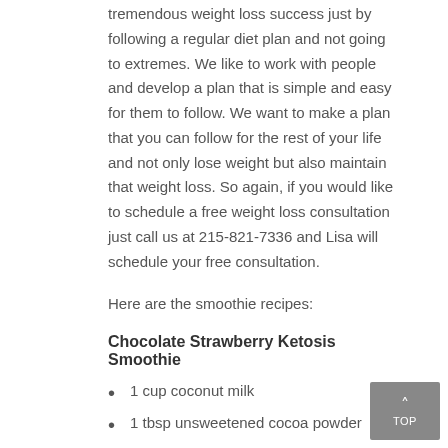tremendous weight loss success just by following a regular diet plan and not going to extremes. We like to work with people and develop a plan that is simple and easy for them to follow. We want to make a plan that you can follow for the rest of your life and not only lose weight but also maintain that weight loss. So again, if you would like to schedule a free weight loss consultation just call us at 215-821-7336 and Lisa will schedule your free consultation.
Here are the smoothie recipes:
Chocolate Strawberry Ketosis Smoothie
1 cup coconut milk
1 tbsp unsweetened cocoa powder
¼ cup frozen strawberries
1 scoop of our Solutions 4 protein powder
Blend and enjoy!